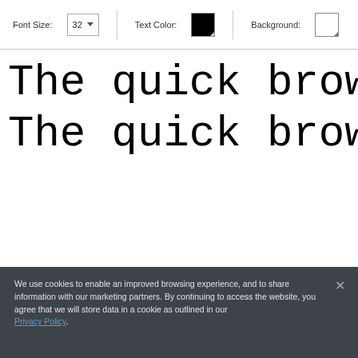[Figure (screenshot): Font size selector showing '32' with dropdown arrow]
The quick brown fox jumps
The quick brown fox jumps
We use cookies to enable an improved browsing experience, and to share information with our marketing partners. By continuing to access the website, you agree that we will store data in a cookie as outlined in our Privacy Policy.